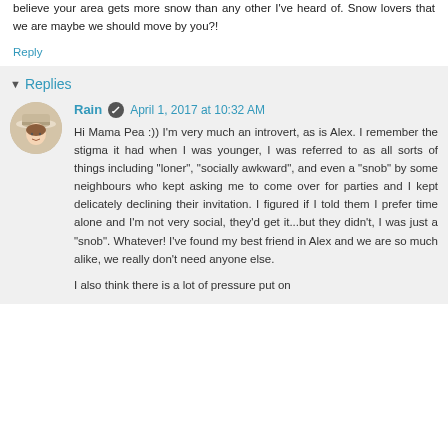believe your area gets more snow than any other I've heard of. Snow lovers that we are maybe we should move by you?!
Reply
Replies
Rain  April 1, 2017 at 10:32 AM
Hi Mama Pea :)) I'm very much an introvert, as is Alex. I remember the stigma it had when I was younger, I was referred to as all sorts of things including "loner", "socially awkward", and even a "snob" by some neighbours who kept asking me to come over for parties and I kept delicately declining their invitation. I figured if I told them I prefer time alone and I'm not very social, they'd get it...but they didn't, I was just a "snob". Whatever! I've found my best friend in Alex and we are so much alike, we really don't need anyone else.
I also think there is a lot of pressure put on